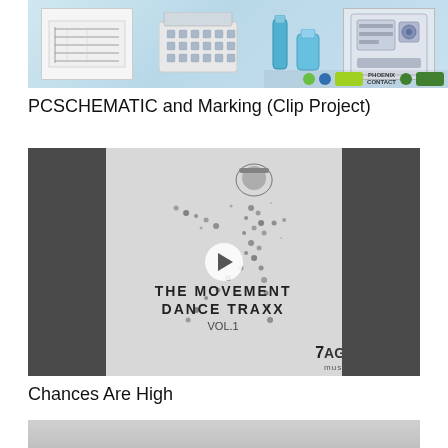[Figure (photo): Product image showing schematic diagrams, lab trays, blue bottles/reagents, and electronic device, with Phoenix Contact branding bar at bottom]
PCSCHEMATIC and Marking (Clip Project)
[Figure (photo): Video thumbnail showing album art for 'The Movement Dance Traxx Vol.1' by 7Age Music, with a breakdancer silhouette and a play button overlay, dark gray side panels]
Chances Are High
[Figure (photo): Partially visible thumbnail at bottom of page, light gray/neutral tone]